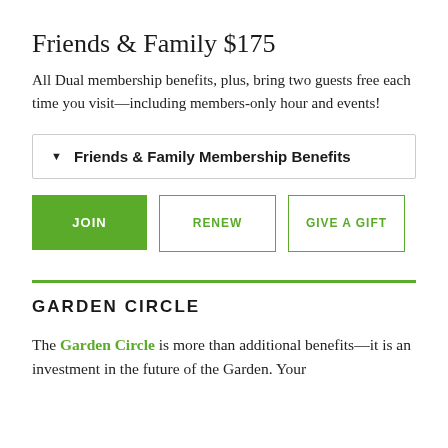Friends & Family $175
All Dual membership benefits, plus, bring two guests free each time you visit—including members-only hour and events!
▼ Friends & Family Membership Benefits
JOIN | RENEW | GIVE A GIFT
GARDEN CIRCLE
The Garden Circle is more than additional benefits—it is an investment in the future of the Garden. Your